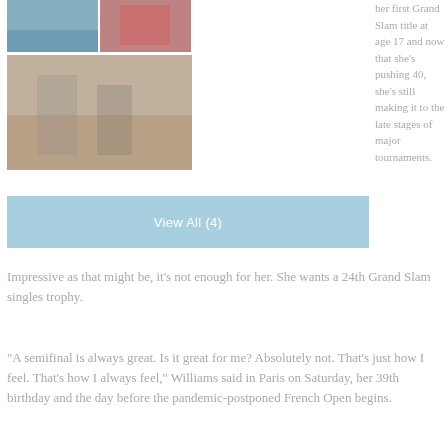[Figure (photo): Tennis shoes/court close-up photo]
[Figure (photo): Tennis player in red jacket holding item]
[Figure (photo): Two tennis players on clay court]
her first Grand Slam title at age 17 and now that she’s pushing 40, she’s still making it to the late stages of major tournaments.
View All (4)
Impressive as that might be, it’s not enough for her. She wants a 24th Grand Slam singles trophy.
“A semifinal is always great. Is it great for me? Absolutely not. That’s just how I feel. That’s how I always feel,” Williams said in Paris on Saturday, her 39th birthday and the day before the pandemic-postponed French Open begins.